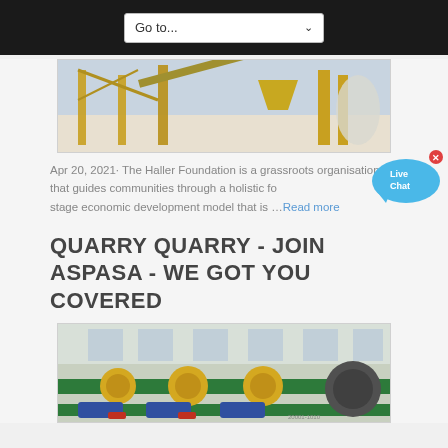Go to...
[Figure (photo): Industrial quarry equipment - yellow metal structure, conveyor belts, hoppers outdoors]
Apr 20, 2021· The Haller Foundation is a grassroots organisation that guides communities through a holistic four stage economic development model that is …Read more
QUARRY QUARRY - JOIN ASPASA - WE GOT YOU COVERED
[Figure (photo): Industrial machinery inside a factory - green conveyor rollers with yellow and blue drum components]